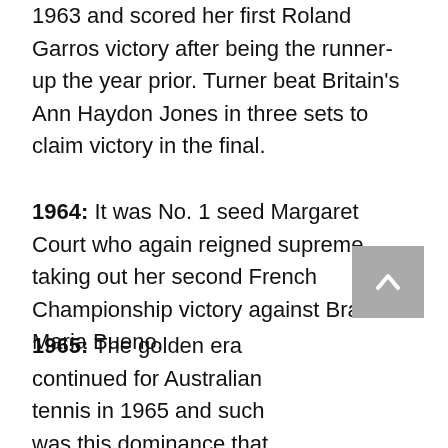1963 and scored her first Roland Garros victory after being the runner-up the year prior. Turner beat Britain's Ann Haydon Jones in three sets to claim victory in the final.
1964: It was No. 1 seed Margaret Court who again reigned supreme taking out her second French Championship victory against Brazilian Maria Bueno.
1965: The golden era continued for Australian tennis in 1965 and such was this dominance that we saw two all Australian Roland Garros finals.
Fred Stolle battled his way to victory against Tony Roche while it was Lesley Turner who came up against reigning